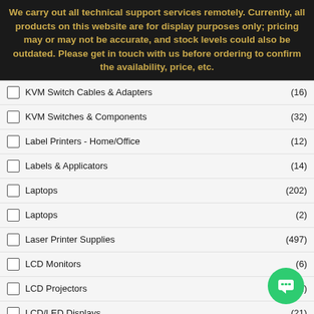We carry out all technical support services remotely. Currently, all products on this website are for display purposes only; pricing may or may not be accurate, and stock levels could also be outdated. Please get in touch with us before ordering to confirm the availability, price, etc.
KVM Switch Cables & Adapters (16)
KVM Switches & Components (32)
Label Printers - Home/Office (12)
Labels & Applicators (14)
Laptops (202)
Laptops (2)
Laser Printer Supplies (497)
LCD Monitors (6)
LCD Projectors (21)
LCD/LED Displays (21)
LCD/LED Monitors (135)
LCD/LED Touch Screen Displays (1)
Learning Management Software
Linux Operating System Software
Mac Operating System Software (4)